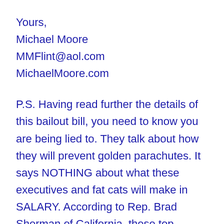Yours,
Michael Moore
MMFlint@aol.com
MichaelMoore.com
P.S. Having read further the details of this bailout bill, you need to know you are being lied to. They talk about how they will prevent golden parachutes. It says NOTHING about what these executives and fat cats will make in SALARY. According to Rep. Brad Sherman of California, these top managers will continue to receive million-dollar-a-month paychecks under this new bill. There is no direct ownership given to the American people for the money being handed over. Foreign banks and investors will be allowed to receive billion-dollar handouts. A large chunk of this $700 billion is going to be given directly to Chinese